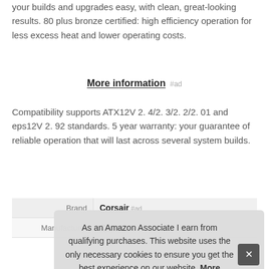your builds and upgrades easy, with clean, great-looking results. 80 plus bronze certified: high efficiency operation for less excess heat and lower operating costs.
More information #ad
Compatibility supports ATX12V 2. 4/2. 3/2. 2/2. 01 and eps12V 2. 92 standards. 5 year warranty: your guarantee of reliable operation that will last across several system builds.
|  |  |
| --- | --- |
| Brand | Corsair #ad |
| Manufacturer | Corsair #ad |
As an Amazon Associate I earn from qualifying purchases. This website uses the only necessary cookies to ensure you get the best experience on our website. More information